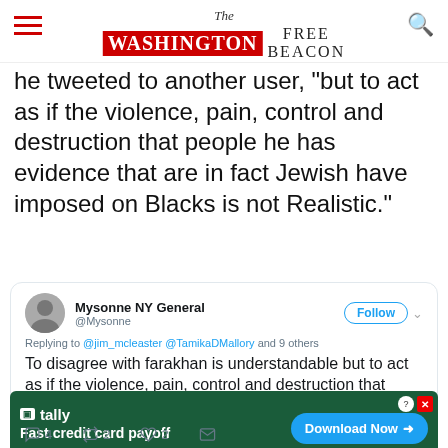The Washington Free Beacon
he tweeted to another user, "but to act as if the violence, pain, control and destruction that people he has evidence that are in fact Jewish have imposed on Blacks is not Realistic."
[Figure (screenshot): Screenshot of a tweet by @Mysonne (Mysonne NY General) replying to @jim_mcleaster @TamikaDMallory and 9 others: 'To disagree with farakhan is understandable but to act as if the violence, pain, control and destruction that people he has evidence that are in fact Jewish have imposed on Blacks is not Realistic.']
[Figure (other): Tally advertisement banner: Fast credit card payoff, Download Now button]